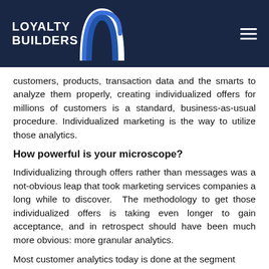[Figure (logo): Loyalty Builders logo with white arch/wave graphic on dark navy background, text reads LOYALTY BUILDERS]
customers, products, transaction data and the smarts to analyze them properly, creating individualized offers for millions of customers is a standard, business-as-usual procedure. Individualized marketing is the way to utilize those analytics.
How powerful is your microscope?
Individualizing through offers rather than messages was a not-obvious leap that took marketing services companies a long while to discover.  The methodology to get those individualized offers is taking even longer to gain acceptance, and in retrospect should have been much more obvious: more granular analytics.
Most customer analytics today is done at the segment